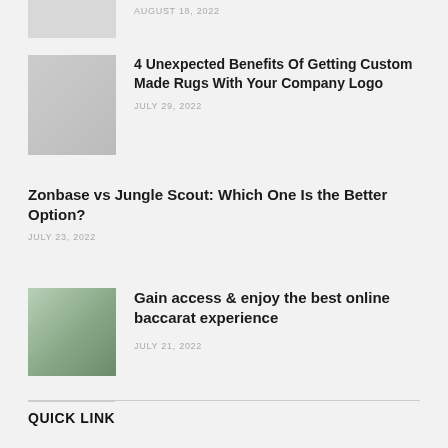AUGUST 18, 2022
[Figure (photo): Thumbnail image for article]
4 Unexpected Benefits Of Getting Custom Made Rugs With Your Company Logo
JULY 29, 2022
Zonbase vs Jungle Scout: Which One Is the Better Option?
JULY 23, 2022
[Figure (photo): Thumbnail image for baccarat article]
Gain access & enjoy the best online baccarat experience
JULY 21, 2022
QUICK LINK